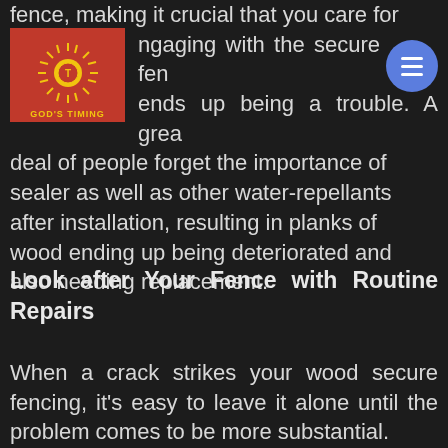fence, making it crucial that you care for engaging with the secure fence ends up being a trouble. A great deal of people forget the importance of sealer as well as other water-repellants after installation, resulting in planks of wood ending up being deteriorated and also needing replacement.
[Figure (logo): God's Timing logo: red square with golden sun and rays, yellow text 'GOD'S TIMING' below]
[Figure (other): Blue circular hamburger menu button with three white lines]
Look after Your Fence with Routine Repairs
When a crack strikes your wood secure fencing, it's easy to leave it alone until the problem comes to be more substantial.